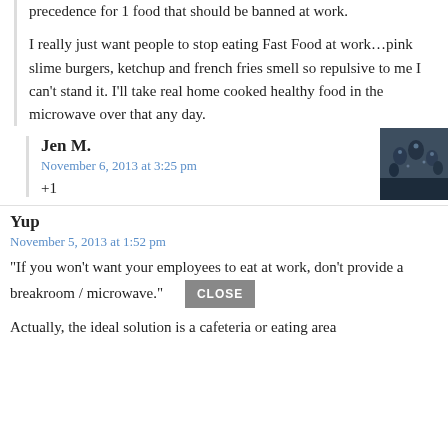precedence for 1 food that should be banned at work.
I really just want people to stop eating Fast Food at work…pink slime burgers, ketchup and french fries smell so repulsive to me I can't stand it. I'll take real home cooked healthy food in the microwave over that any day.
Jen M.
November 6, 2013 at 3:25 pm
+1
[Figure (photo): Small avatar image showing a group of people or birds in a dark/blue toned photo]
Yup
November 5, 2013 at 1:52 pm
“If you won’t want your employees to eat at work, don’t provide a breakroom / microwave.”
Actually, the ideal solution is a cafeteria or eating area